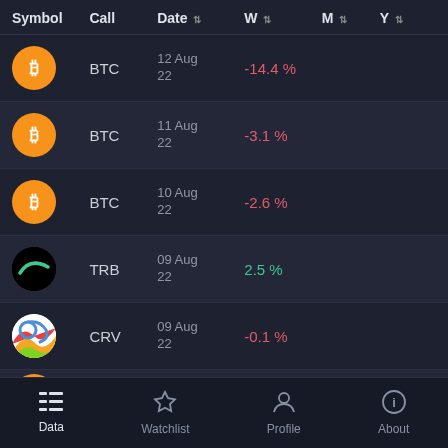| Symbol | Call | Date | W | M | Y |
| --- | --- | --- | --- | --- | --- |
| BTC (bitcoin icon) | BTC | 12 Aug 22 | -14.4 % |  |  |
| BTC (bitcoin icon) | BTC | 11 Aug 22 | -3.1 % |  |  |
| BTC (bitcoin icon) | BTC | 10 Aug 22 | -2.6 % |  |  |
| TRB (tellor icon) | TRB | 09 Aug 22 | 2.5 % |  |  |
| CRV (curve icon) | CRV | 09 Aug 22 | -0.1 % |  |  |
| BTC (bitcoin icon) | BTC | 09 Aug 22 | 3.1 % |  |  |
Data  Watchlist  Profile  About